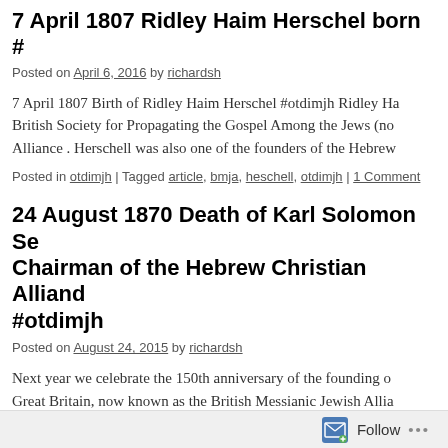7 April 1807 Ridley Haim Herschel born #
Posted on April 6, 2016 by richardsh
7 April 1807 Birth of Ridley Haim Herschel #otdimjh Ridley Ha... British Society for Propagating the Gospel Among the Jews (no... Alliance . Herschell was also one of the founders of the Hebrew...
Posted in otdimjh | Tagged article, bmja, heschell, otdimjh | 1 Comment
24 August 1870 Death of Karl Solomon Se... Chairman of the Hebrew Christian Allianc... #otdimjh
Posted on August 24, 2015 by richardsh
Next year we celebrate the 150th anniversary of the founding of... Great Britain, now known as the British Messianic Jewish Allia... one of its founders, a great preacher, man of letters … Continue